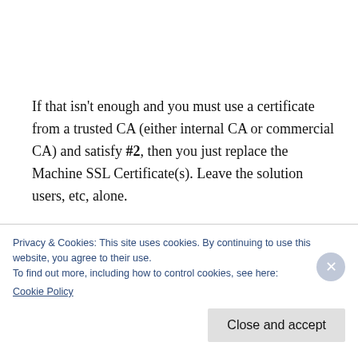If that isn't enough and you must use a certificate from a trusted CA (either internal CA or commercial CA) and satisfy #2, then you just replace the Machine SSL Certificate(s). Leave the solution users, etc, alone.
Unless it's absolutely necessary, you shouldn't
Privacy & Cookies: This site uses cookies. By continuing to use this website, you agree to their use.
To find out more, including how to control cookies, see here:
Cookie Policy